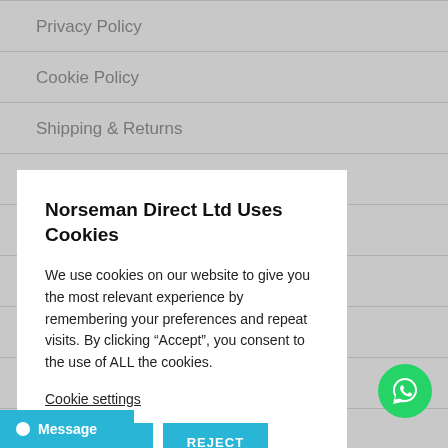Privacy Policy
Cookie Policy
Shipping & Returns
Contact Us
Norseman Direct Ltd Uses Cookies
We use cookies on our website to give you the most relevant experience by remembering your preferences and repeat visits. By clicking “Accept”, you consent to the use of ALL the cookies.
Cookie settings
ACCEPT
REJECT
[Figure (other): WhatsApp contact button (green circle with phone icon)]
Message